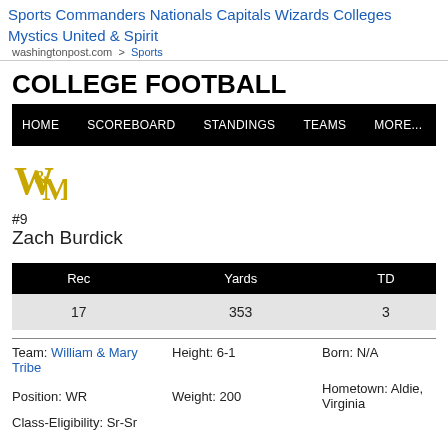Sports Commanders Nationals Capitals Wizards Colleges Mystics United & Spirit
washingtonpost.com > Sports
COLLEGE FOOTBALL
HOME   SCOREBOARD   STANDINGS   TEAMS   MORE...
[Figure (logo): William & Mary W&M logo in gold and green]
#9
Zach Burdick
| Rec | Yards | TD |
| --- | --- | --- |
| 17 | 353 | 3 |
Team: William & Mary Tribe   Height: 6-1   Born: N/A
Position: WR   Weight: 200   Hometown: Aldie, Virginia
Class-Eligibility: Sr-Sr